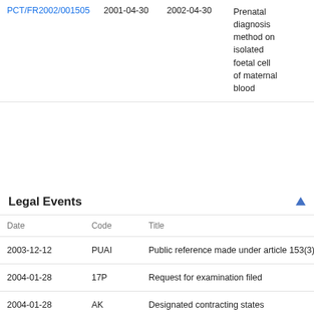|  | Date | Date | Title |
| --- | --- | --- | --- |
| PCT/FR2002/001505 | 2001-04-30 | 2002-04-30 | Prenatal diagnosis method on isolated foetal cell of maternal blood |
Legal Events
| Date | Code | Title |
| --- | --- | --- |
| 2003-12-12 | PUAI | Public reference made under article 153(3) e |
| 2004-01-28 | 17P | Request for examination filed |
| 2004-01-28 | AK | Designated contracting states |